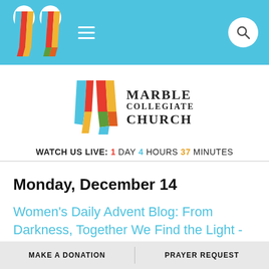[Figure (logo): Marble Collegiate Church navigation bar with colorful stained-glass style logo marks, hamburger menu icon, and search icon on light blue background]
[Figure (logo): Marble Collegiate Church logo: colorful stained-glass style vertical mark beside text reading MARBLE COLLEGIATE CHURCH in serif font]
WATCH US LIVE: 1 DAY 4 HOURS 37 MINUTES
Monday, December 14
Women's Daily Advent Blog: From Darkness, Together We Find the Light - Online
MAKE A DONATION | PRAYER REQUEST